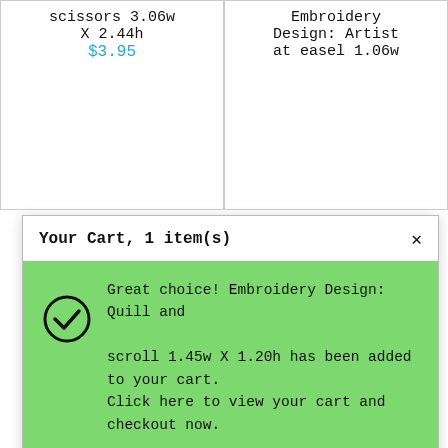scissors 3.06w X 2.44h
$3.95
Embroidery Design: Artist at easel 1.06w
Your Cart, 1 item(s)
Great choice! Embroidery Design: Quill and scroll 1.45w X 1.20h has been added to your cart. Click here to view your cart and checkout now. [X]
$3.95
Embroidery Design: Quill and scroll 1.45w X 1.20h
[Figure (illustration): Embroidery design showing a quill pen and scroll on a fabric background]
Embroidery Design: